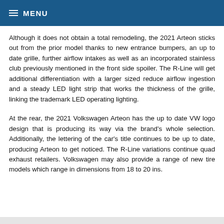MENU
Although it does not obtain a total remodeling, the 2021 Arteon sticks out from the prior model thanks to new entrance bumpers, an up to date grille, further airflow intakes as well as an incorporated stainless club previously mentioned in the front side spoiler. The R-Line will get additional differentiation with a larger sized reduce airflow ingestion and a steady LED light strip that works the thickness of the grille, linking the trademark LED operating lighting.
At the rear, the 2021 Volkswagen Arteon has the up to date VW logo design that is producing its way via the brand's whole selection. Additionally, the lettering of the car's title continues to be up to date, producing Arteon to get noticed. The R-Line variations continue quad exhaust retailers. Volkswagen may also provide a range of new tire models which range in dimensions from 18 to 20 ins.